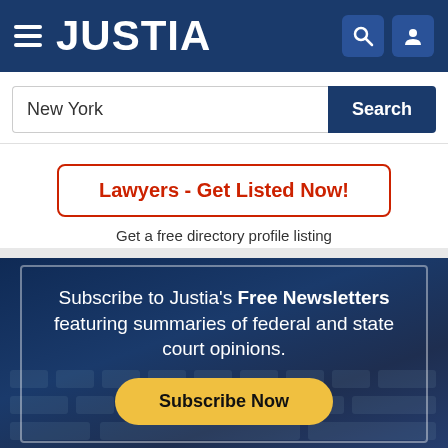[Figure (logo): Justia navigation bar with hamburger menu, JUSTIA logo in white on dark blue background, search icon and user icon on the right]
New York
Search
Lawyers - Get Listed Now!
Get a free directory profile listing
Subscribe to Justia's Free Newsletters featuring summaries of federal and state court opinions.
Subscribe Now